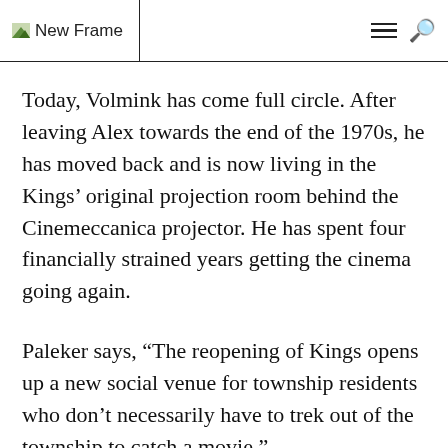New Frame
Today, Volmink has come full circle. After leaving Alex towards the end of the 1970s, he has moved back and is now living in the Kings’ original projection room behind the Cinemeccanica projector. He has spent four financially strained years getting the cinema going again.
Paleker says, “The reopening of Kings opens up a new social venue for township residents who don’t necessarily have to trek out of the township to catch a movie.”